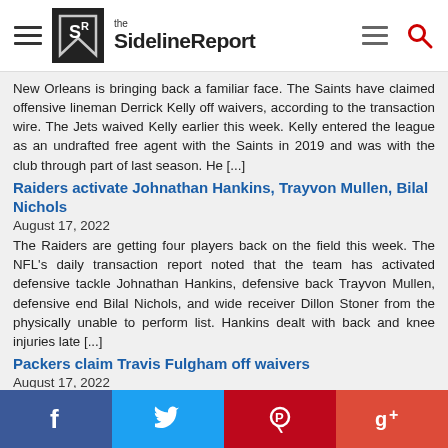the SidelineReport
New Orleans is bringing back a familiar face. The Saints have claimed offensive lineman Derrick Kelly off waivers, according to the transaction wire. The Jets waived Kelly earlier this week. Kelly entered the league as an undrafted free agent with the Saints in 2019 and was with the club through part of last season. He [...]
Raiders activate Johnathan Hankins, Trayvon Mullen, Bilal Nichols
August 17, 2022
The Raiders are getting four players back on the field this week. The NFL's daily transaction report noted that the team has activated defensive tackle Johnathan Hankins, defensive back Trayvon Mullen, defensive end Bilal Nichols, and wide receiver Dillon Stoner from the physically unable to perform list. Hankins dealt with back and knee injuries late [...]
Packers claim Travis Fulgham off waivers
August 17, 2022
Packers quarterback Aaron Rodgers bemoaned the inconsistency of the team's young receivers on Tuesday and Green Bay added a more experienced player to the